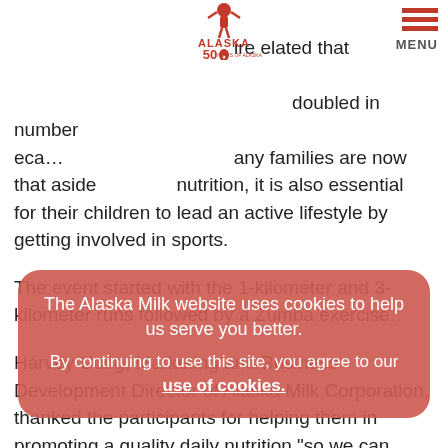Alaska 50 Years of Alaska logo | MENU
ire elated that doubled in number because many families are now that aside nutrition, it is also essential for their children to lead an active lifestyle by getting involved in sports.
The event started with the 1-kilometer and 3-kilometer runs followed by a Zumba exercise.
Harvey Uong, Marketing and Business Development Director of Alaska Milk Corporation, thanked the participants for helping them in promoting a quality daily nutrition "so we can nourish a lot of Filipinos."
The participants were also invited to do a milk toast with Alaska Tri Aspire athletes Tim Reed, the 2016 70.3 World Champion, and Asian Elite August Benedicto.
The Alaska Milk website uses cookies to help us serve you better. By continuing to use this site, you agree to our use of cookies.